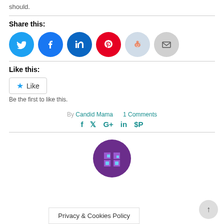should.
Share this:
[Figure (infographic): Social share buttons: Twitter (blue), Facebook (blue), LinkedIn (dark blue), Pinterest (red), Reddit (light blue), Email (gray)]
Like this:
[Figure (infographic): Like button with star icon and text 'Like']
Be the first to like this.
By Candid Mama    1 Comments
[Figure (infographic): Social media icons: Facebook, Twitter, Google+, LinkedIn, Pinterest in teal color]
[Figure (infographic): Purple avatar circle with pixel art pattern, partially visible at bottom]
Privacy & Cookies Policy